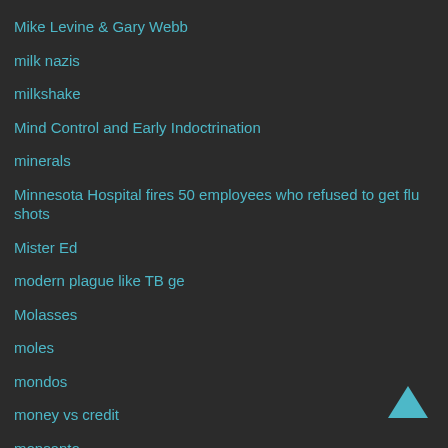Mike Levine & Gary Webb
milk nazis
milkshake
Mind Control and Early Indoctrination
minerals
Minnesota Hospital fires 50 employees who refused to get flu shots
Mister Ed
modern plague like TB ge
Molasses
moles
mondos
money vs credit
monsanto
Monsanto Crushed Dissent with Thousands of Paid Trolls